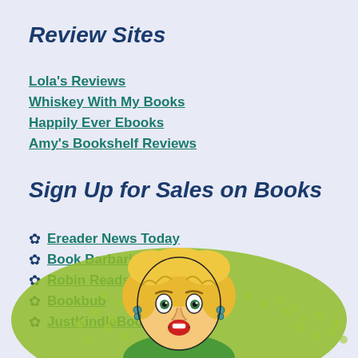Review Sites
Lola's Reviews
Whiskey With My Books
Happily Ever Ebooks
Amy's Bookshelf Reviews
Sign Up for Sales on Books
Ereader News Today
Book Barbarian
Robin Reads
Bookbub
JustKindleBooks
[Figure (illustration): Pop art style comic illustration of a surprised blonde woman with green background halftone dots, partially cropped at bottom of page]